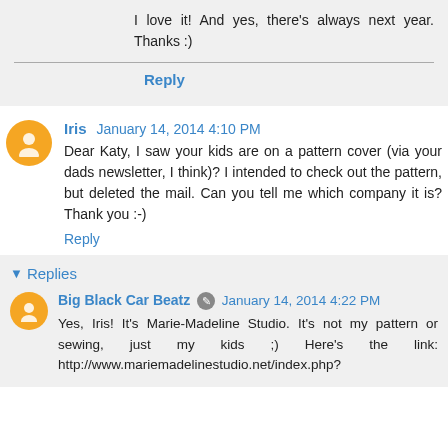I love it! And yes, there's always next year. Thanks :)
Reply
Iris  January 14, 2014 4:10 PM
Dear Katy, I saw your kids are on a pattern cover (via your dads newsletter, I think)? I intended to check out the pattern, but deleted the mail. Can you tell me which company it is? Thank you :-)
Reply
Replies
Big Black Car Beatz  January 14, 2014 4:22 PM
Yes, Iris! It's Marie-Madeline Studio. It's not my pattern or sewing, just my kids ;) Here's the link: http://www.mariemadelinestudio.net/index.php?